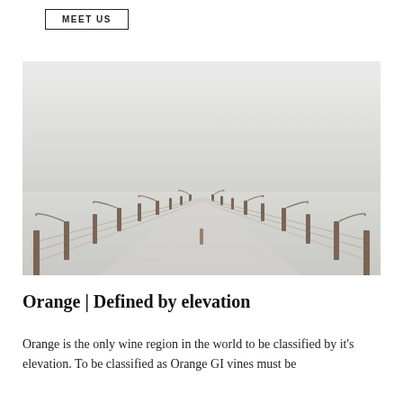MEET US
[Figure (photo): Winter vineyard scene with rows of bare grapevines covered in snow, viewed in perspective down the middle of the rows, under a pale grey-white sky.]
Orange | Defined by elevation
Orange is the only wine region in the world to be classified by it's elevation. To be classified as Orange GI vines must be